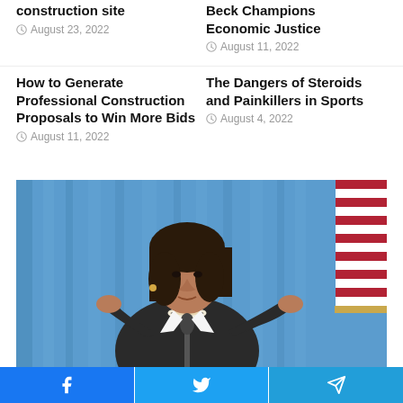construction site
August 23, 2022
Beck Champions Economic Justice
August 11, 2022
How to Generate Professional Construction Proposals to Win More Bids
August 11, 2022
The Dangers of Steroids and Painkillers in Sports
August 4, 2022
[Figure (photo): A woman in a dark pinstripe suit speaking at a podium with a microphone, gesturing with both hands, in front of a blue draped background with an American flag partially visible on the right.]
Facebook | Twitter | Telegram